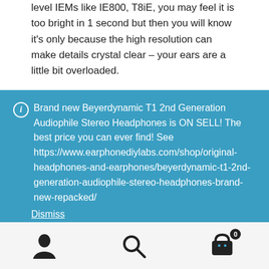level IEMs like IE800, T8iE, you may feel it is too bright in 1 second but then you will know it's only because the high resolution can make details crystal clear – your ears are a little bit overloaded.
Brand new Beyerdynamic T1 2nd Generation Audiophile Stereo Headphones is ON SELL! The best price you can ever find! See https://www.earphonediylabs.com/shop/original-headphones-and-earphones/beyerdynamic-t1-2nd-generation-audiophile-stereo-headphones-brand-new-repacked/ Dismiss